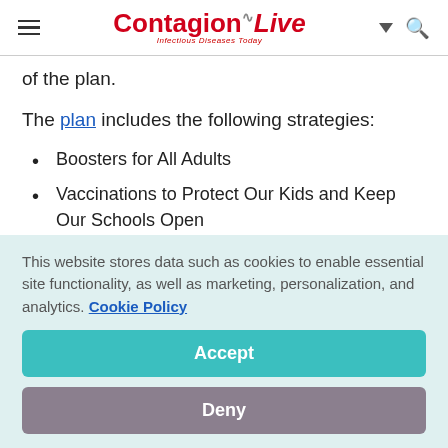ContagionLive — Infectious Diseases Today
of the plan.
The plan includes the following strategies:
Boosters for All Adults
Vaccinations to Protect Our Kids and Keep Our Schools Open
Expanding Free At-Home Testing for Americans
This website stores data such as cookies to enable essential site functionality, as well as marketing, personalization, and analytics. Cookie Policy
Accept
Deny